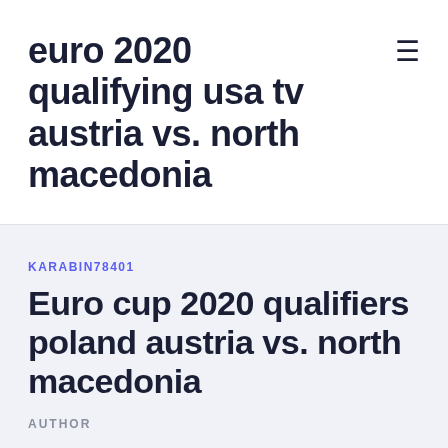euro 2020 qualifying usa tv austria vs. north macedonia
KARABIN78401
Euro cup 2020 qualifiers poland austria vs. north macedonia
AUTHOR
The inauguration match was played between Italy and Turkey. Before uefa euro 2020 they had never finished